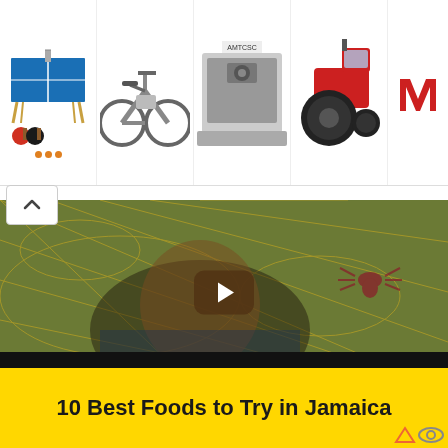[Figure (screenshot): Advertisement banner showing product images: ping pong table with paddles, electric bicycle, CNC lathe machine, red tractor, and a logo (M)]
[Figure (screenshot): Video thumbnail showing a smiling woman in patterned dress against decorative background with play button overlay]
Search for
10 Best Foods to Try in Jamaica